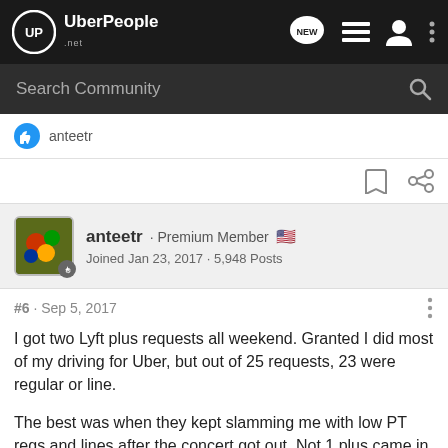UberPeople.net
Search Community
anteetr
anteetr · Premium Member
Joined Jan 23, 2017 · 5,948 Posts
#6 · Sep 5, 2017
I got two Lyft plus requests all weekend. Granted I did most of my driving for Uber, but out of 25 requests, 23 were regular or line.
The best was when they kept slamming me with low PT regs and lines after the concert got out. Not 1 plus came in. Every time I work a major event they do the same thing to me. And, if I